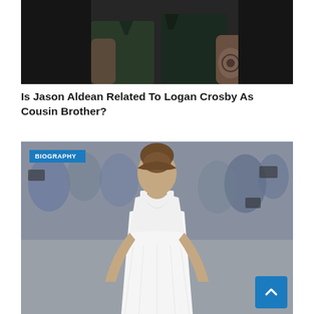[Figure (photo): Two men standing side by side, one wearing a dark green short-sleeve shirt with tattoos visible on arm, dark background]
Is Jason Aldean Related To Logan Crosby As Cousin Brother?
[Figure (photo): Young woman with updo hairstyle wearing a white sleeveless dress, standing in front of a crowd of photographers. A 'BIOGRAPHY' label badge in blue is overlaid in the top left corner.]